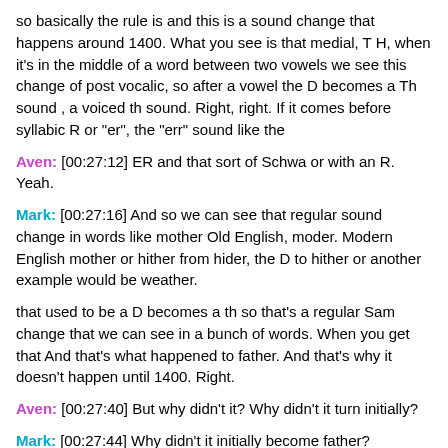so basically the rule is and this is a sound change that happens around 1400. What you see is that medial, T H, when it's in the middle of a word between two vowels we see this change of post vocalic, so after a vowel the D becomes a Th sound , a voiced th sound. Right, right. If it comes before syllabic R or "er", the "err" sound like the
Aven: [00:27:12] ER and that sort of Schwa or with an R. Yeah.
Mark: [00:27:16] And so we can see that regular sound change in words like mother Old English, moder. Modern English mother or hither from hider, the D to hither or another example would be weather.
that used to be a D becomes a th so that's a regular Sam change that we can see in a bunch of words. When you get that And that's what happened to father. And that's why it doesn't happen until 1400. Right.
Aven: [00:27:40] But why didn't it? Why didn't it turn initially?
Mark: [00:27:44] Why didn't it initially become father?
Well, that is because And this isn't a random thing,